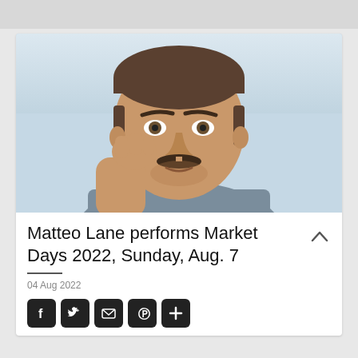[Figure (photo): Portrait photo of Matteo Lane, a man with short hair and a mustache resting his chin on his hand, wearing a grey t-shirt, against a light blue background.]
Matteo Lane performs Market Days 2022, Sunday, Aug. 7
04 Aug 2022
[Figure (infographic): Row of social share buttons: Facebook, Twitter, Email, Pinterest, More (+)]